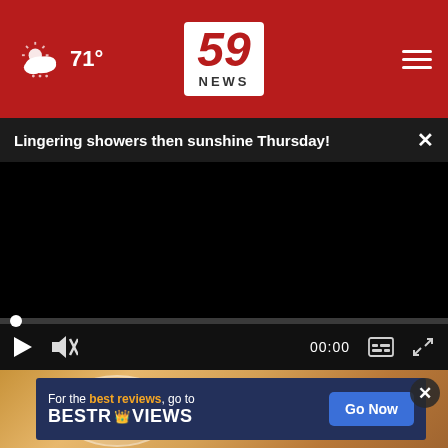71° | 59 News
Lingering showers then sunshine Thursday!
[Figure (screenshot): Black video player area with playback controls including play button, mute icon, 00:00 timestamp, captions and fullscreen icons on dark control bar]
[Figure (photo): Close-up photo of what appears to be a bubble or glass surface on a wooden background, with an advertisement overlay for BestReviews]
For the best reviews, go to BESTREVIEWS Go Now